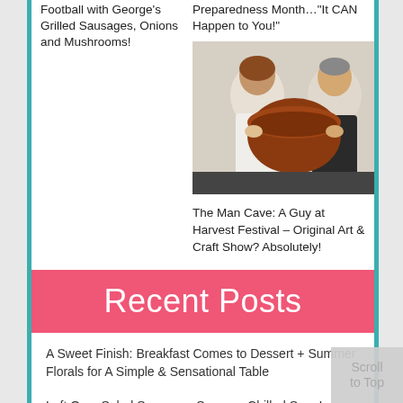Football with George's Grilled Sausages, Onions and Mushrooms!
Preparedness Month…"It CAN Happen to You!"
[Figure (photo): Two people at a harvest festival crafts show, one holding a large round wooden bowl]
The Man Cave: A Guy at Harvest Festival – Original Art & Craft Show? Absolutely!
Recent Posts
A Sweet Finish: Breakfast Comes to Dessert + Summer Florals for A Simple & Sensational Table
Left Over Salad Serves as Summer Chilled Soup!
“Company’s Coming and it’s a Crowd!”